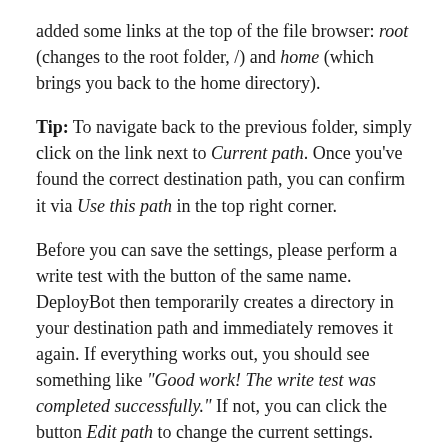added some links at the top of the file browser: root (changes to the root folder, /) and home (which brings you back to the home directory).
Tip: To navigate back to the previous folder, simply click on the link next to Current path. Once you've found the correct destination path, you can confirm it via Use this path in the top right corner.
Before you can save the settings, please perform a write test with the button of the same name. DeployBot then temporarily creates a directory in your destination path and immediately removes it again. If everything works out, you should see something like "Good work! The write test was completed successfully." If not, you can click the button Edit path to change the current settings.